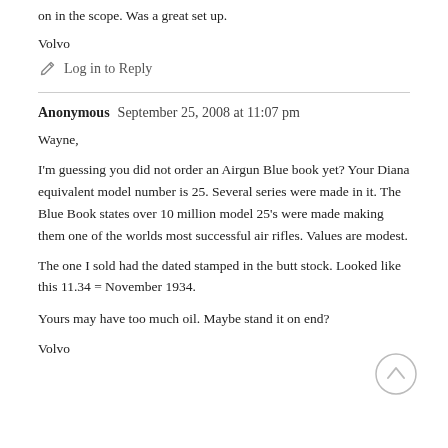on in the scope. Was a great set up.
Volvo
✏ Log in to Reply
Anonymous   September 25, 2008 at 11:07 pm
Wayne,
I'm guessing you did not order an Airgun Blue book yet? Your Diana equivalent model number is 25. Several series were made in it. The Blue Book states over 10 million model 25's were made making them one of the worlds most successful air rifles. Values are modest.
The one I sold had the dated stamped in the butt stock. Looked like this 11.34 = November 1934.
Yours may have too much oil. Maybe stand it on end?
Volvo